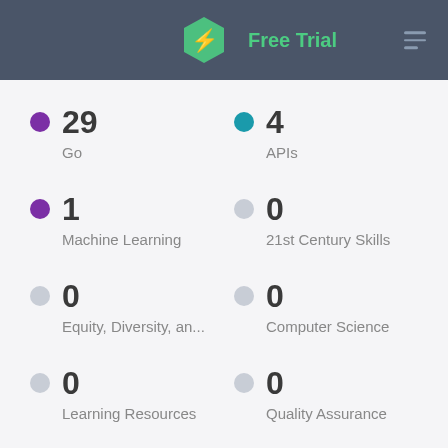Free Trial
29 Go
4 APIs
1 Machine Learning
0 21st Century Skills
0 Equity, Diversity, an...
0 Computer Science
0 Learning Resources
0 Quality Assurance